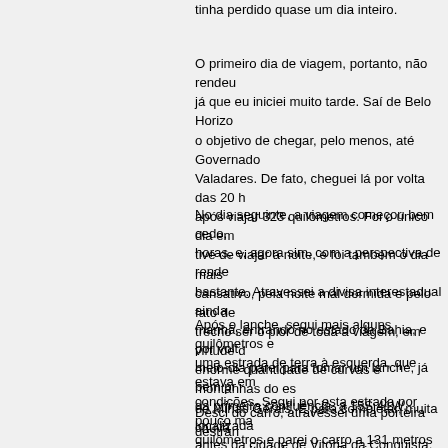tinha perdido quase um dia inteiro.
O primeiro dia de viagem, portanto, não rendeu já que eu iniciei muito tarde. Saí de Belo Horizonte o objetivo de chegar, pelo menos, até Governador Valadares. De fato, cheguei lá por volta das 20 h após viajar 323 quilômetros. Foi o único dia em que tive de viajar à noite, e foi também o dia mais cansativo, pela noite mal dormida e pelo fato de o trecho ser o pior de toda a viagem, em virtude da enorme quantidade de curvas e montanhas do estado de Minas Gerais. E para completar, muita chuva.
No dia seguinte, a viagem começou bem cedo, às 6 horas, e, agora sim, com a perspectiva de render bastante. Atravessei a divisa interestadual ainda de manhã, entrando no estado da Bahia, e por volta do meio-dia parei para tomar um lanche, já bem próximo da primeira confluência, a 15S 41W, localizada pouco antes da cidade de Vitória da Conquista.
Após o lanche, segui mais alguns quilômetros e tomei uma estrada de terra à esquerda, que estava em boas condições. Segui por esta estrada por pouco mais de 2 quilômetros e parei o carro a 131 metros do ponto exato, que se localiza dentro de uma fazenda.
Desci do carro, atravessei uma porteira destrancada e me aproximei do ponto. Parei quando estava a alguns metros do ponto exato. Não me aproximei mais